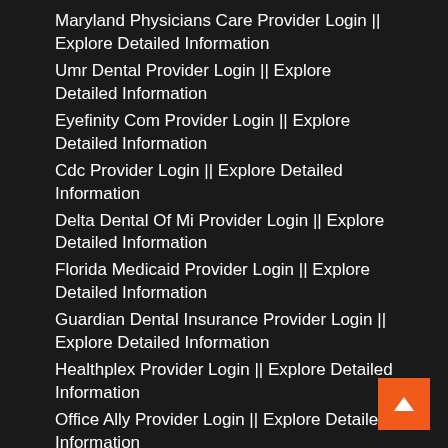Maryland Physicians Care Provider Login || Explore Detailed Information
Umr Dental Provider Login || Explore Detailed Information
Eyefinity Com Provider Login || Explore Detailed Information
Cdc Provider Login || Explore Detailed Information
Delta Dental Of Mi Provider Login || Explore Detailed Information
Florida Medicaid Provider Login || Explore Detailed Information
Guardian Dental Insurance Provider Login || Explore Detailed Information
Healthplex Provider Login || Explore Detailed Information
Office Ally Provider Login || Explore Detailed Information
Root Provider Login || Explore Detailed Information